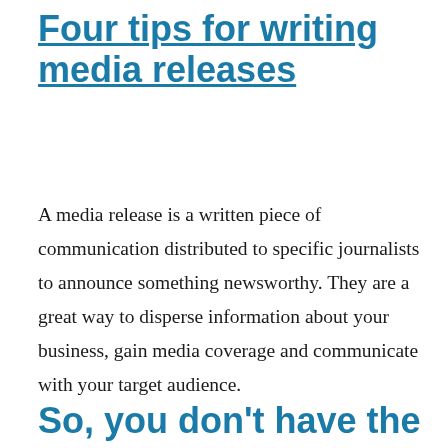Four tips for writing media releases
A media release is a written piece of communication distributed to specific journalists to announce something newsworthy. They are a great way to disperse information about your business, gain media coverage and communicate with your target audience.
So, you don't have the